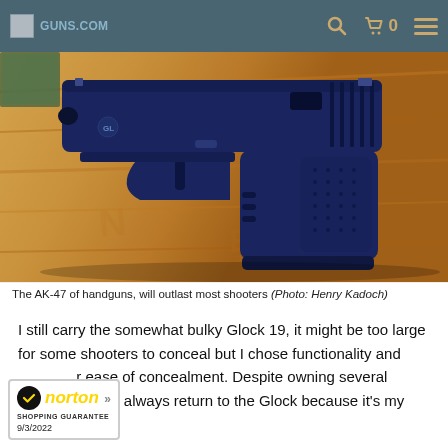Guns.com | 0
[Figure (photo): A Glock 19 handgun lying on a wooden surface, photographed from above at an angle. The gun is dark blue-black in color.]
The AK-47 of handguns, will outlast most shooters (Photo: Henry Kadoch)
I still carry the somewhat bulky Glock 19, it might be too large for some shooters to conceal but I chose functionality and ease of concealment. Despite owning several alternatives, I always return to the Glock because it's my
[Figure (logo): Norton Shopping Guarantee badge with checkmark, dated 9/3/2022]